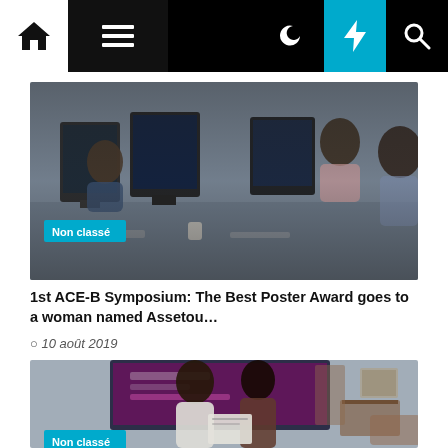Navigation bar with home, menu, moon, bolt, and search icons
[Figure (photo): Office scene with people working at computers]
Non classé
1st ACE-B Symposium: The Best Poster Award goes to a woman named Assetou…
10 août 2019
[Figure (photo): Two people in an indoor venue, one handing a certificate to another, with a large display screen behind them]